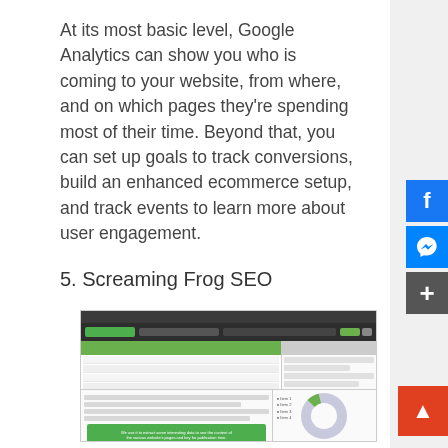At its most basic level, Google Analytics can show you who is coming to your website, from where, and on which pages they're spending most of their time. Beyond that, you can set up goals to track conversions, build an enhanced ecommerce setup, and track events to learn more about user engagement.
5. Screaming Frog SEO
[Figure (screenshot): Screenshot of Screaming Frog SEO Spider application showing a crawl results table with URLs, status codes, and various SEO metrics. A lower panel shows a donut chart and a green modal dialog box with crawl details.]